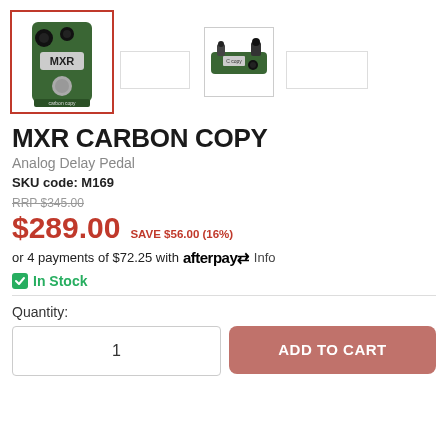[Figure (photo): MXR Carbon Copy analog delay pedal - front view, green enclosure with knobs, selected thumbnail with red border]
[Figure (photo): Blank thumbnail placeholder]
[Figure (photo): MXR Carbon Copy analog delay pedal - side/top view showing jacks]
[Figure (photo): Blank thumbnail placeholder]
MXR CARBON COPY
Analog Delay Pedal
SKU code: M169
RRP $345.00
$289.00  SAVE $56.00 (16%)
or 4 payments of $72.25 with afterpay Info
In Stock
Quantity:
1
ADD TO CART